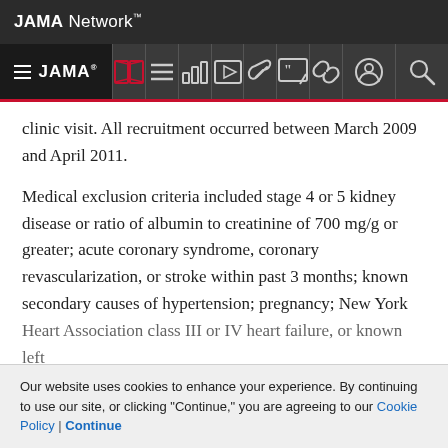JAMA Network
JAMA
clinic visit. All recruitment occurred between March 2009 and April 2011.
Medical exclusion criteria included stage 4 or 5 kidney disease or ratio of albumin to creatinine of 700 mg/g or greater; acute coronary syndrome, coronary revascularization, or stroke within past 3 months; known secondary causes of hypertension; pregnancy; New York Heart Association class III or IV heart failure, or known left
Our website uses cookies to enhance your experience. By continuing to use our site, or clicking "Continue," you are agreeing to our Cookie Policy | Continue